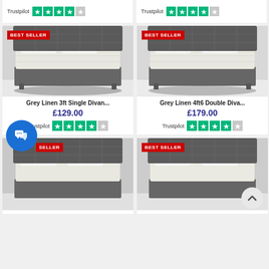[Figure (screenshot): Top partial cards showing Trustpilot ratings (4 stars out of 5) for two products]
[Figure (photo): Grey Linen 3ft Single Divan bed with BEST SELLER badge]
Grey Linen 3ft Single Divan...
£129.00
Trustpilot ★★★★☆
[Figure (photo): Grey Linen 4ft6 Double Divan bed with BEST SELLER badge]
Grey Linen 4ft6 Double Diva...
£179.00
Trustpilot ★★★★☆
[Figure (photo): Third bed product with BEST SELLER badge, partially obscured by chat button]
[Figure (photo): Fourth bed product with BEST SELLER badge]